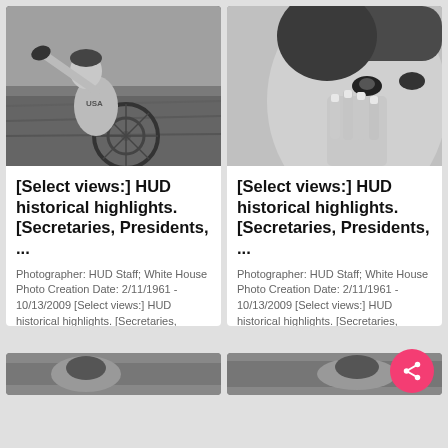[Figure (photo): Black and white photo of a person in a wheelchair on grass, reaching forward athletically wearing a USA jersey]
[Figure (photo): Black and white close-up photo of a young boy with hands raised near his face]
[Select views:] HUD historical highlights. [Secretaries, Presidents, ...
Photographer: HUD Staff; White House Photo Creation Date: 2/11/1961 - 10/13/2009 [Select views:] HUD historical highlights. [Secretaries, Presidents, events]
[Select views:] HUD historical highlights. [Secretaries, Presidents, ...
Photographer: HUD Staff; White House Photo Creation Date: 2/11/1961 - 10/13/2009 [Select views:] HUD historical highlights. [Secretaries, Presidents, events]
[Figure (photo): Partial black and white photo visible at bottom left]
[Figure (photo): Partial black and white photo visible at bottom right]